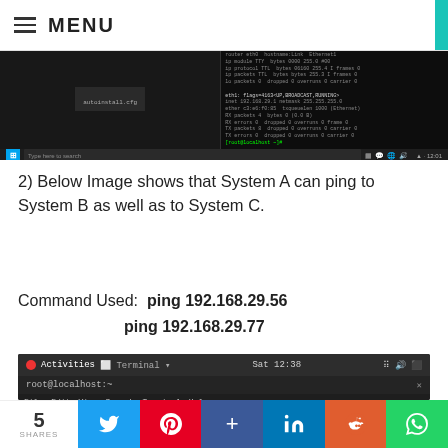MENU
[Figure (screenshot): Screenshot showing two terminal/command windows side by side on a dark background with a Windows taskbar at the bottom]
2) Below Image shows that System A can ping to System B as well as to System C.
Command Used:  ping 192.168.29.56
               ping 192.168.29.77
[Figure (screenshot): Linux terminal (root@localhost) showing ping 192.168.29.56 command output with ICMP responses showing ttl=64 and response times around 0.5-1.3ms]
5 SHARES